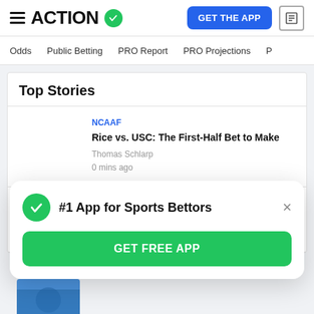ACTION
Odds | Public Betting | PRO Report | PRO Projections
Top Stories
NCAAF
Rice vs. USC: The First-Half Bet to Make
Thomas Schlarp
0 mins ago
NCAAF
Florida Atlantic vs. Ohio: Ouds in Win Now...
#1 App for Sports Bettors
GET FREE APP